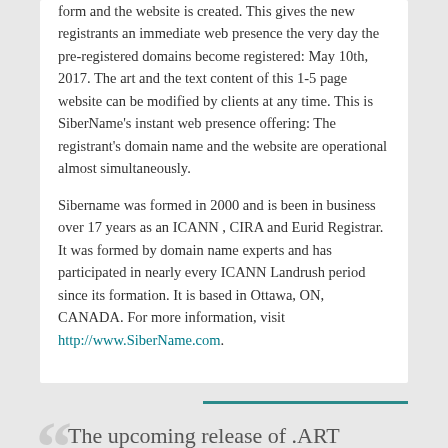form and the website is created. This gives the new registrants an immediate web presence the very day the pre-registered domains become registered: May 10th, 2017. The art and the text content of this 1-5 page website can be modified by clients at any time. This is SiberName's instant web presence offering: The registrant's domain name and the website are operational almost simultaneously.
Sibername was formed in 2000 and is been in business over 17 years as an ICANN , CIRA and Eurid Registrar. It was formed by domain name experts and has participated in nearly every ICANN Landrush period since its formation. It is based in Ottawa, ON, CANADA. For more information, visit http://www.SiberName.com.
The upcoming release of .ART domains will expand the art industry online. It may even cause an Art Renaissance!
Share article on social media or email: